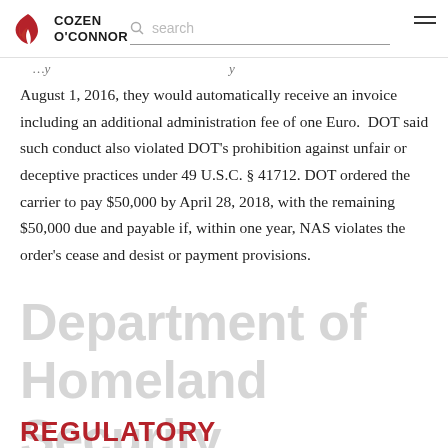Cozen O'Connor [logo] search [menu]
August 1, 2016, they would automatically receive an invoice including an additional administration fee of one Euro. DOT said such conduct also violated DOT's prohibition against unfair or deceptive practices under 49 U.S.C. § 41712. DOT ordered the carrier to pay $50,000 by April 28, 2018, with the remaining $50,000 due and payable if, within one year, NAS violates the order's cease and desist or payment provisions.
Department of Homeland Security REGULATORY